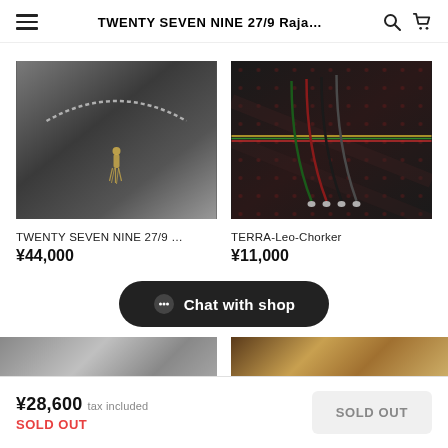TWENTY SEVEN NINE 27/9 Raja…
[Figure (photo): Dark background with a black braided necklace featuring a small pendant/tassel at the bottom center]
TWENTY SEVEN NINE 27/9 …
¥44,000
[Figure (photo): Dark patterned fabric background with colorful cord chorker necklaces (green, red, black) laid flat showing the looped ends with metal clasps]
TERRA-Leo-Chorker
¥11,000
Chat with shop
[Figure (photo): Partially visible product images at bottom: left shows gray/silver item, right shows brown/gold leather or fabric item]
¥28,600 tax included
SOLD OUT
SOLD OUT